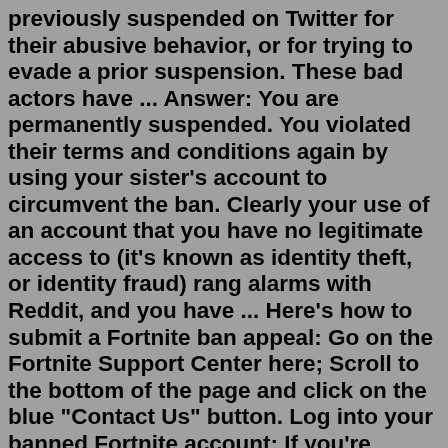previously suspended on Twitter for their abusive behavior, or for trying to evade a prior suspension. These bad actors have ... Answer: You are permanently suspended. You violated their terms and conditions again by using your sister's account to circumvent the ban. Clearly your use of an account that you have no legitimate access to (it's known as identity theft, or identity fraud) rang alarms with Reddit, and you have ... Here's how to submit a Fortnite ban appeal: Go on the Fortnite Support Center here; Scroll to the bottom of the page and click on the blue "Contact Us" button. Log into your banned Fortnite account; If you're unable to log in, select "I can't login" and fill in the form. Fill in your Display name and Email;Answer (1 of 8): You don't. Facebook only cares about its customers, which are the companies that buy and sell your information. You are using it for free which means you are product for sale. Step #1: Review EA's 'Positive Play Charter' & 'Rules of Conduct'. Before you submit your appeal for getting unbanned from Apex Legends, it's crucial